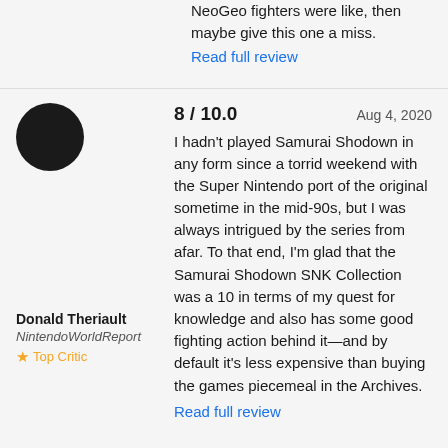NeoGeo fighters were like, then maybe give this one a miss.
Read full review
[Figure (photo): Black circular avatar/profile image for reviewer Donald Theriault]
8 / 10.0   Aug 4, 2020
I hadn't played Samurai Shodown in any form since a torrid weekend with the Super Nintendo port of the original sometime in the mid-90s, but I was always intrigued by the series from afar. To that end, I'm glad that the Samurai Shodown SNK Collection was a 10 in terms of my quest for knowledge and also has some good fighting action behind it—and by default it's less expensive than buying the games piecemeal in the Archives.
Donald Theriault
NintendoWorldReport
Top Critic
Read full review